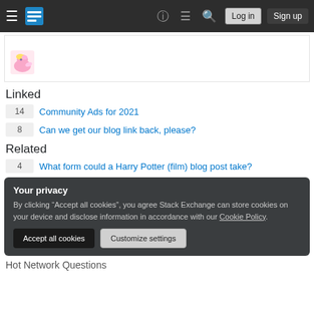Stack Exchange navigation bar with hamburger menu, logo, help, chat, search, Log in, Sign up
[Figure (screenshot): User avatar (small pony character, pink/yellow) inside a post snippet card]
Linked
14  Community Ads for 2021
8  Can we get our blog link back, please?
Related
4  What form could a Harry Potter (film) blog post take?
Your privacy
By clicking "Accept all cookies", you agree Stack Exchange can store cookies on your device and disclose information in accordance with our Cookie Policy.
Accept all cookies  Customize settings
Hot Network Questions